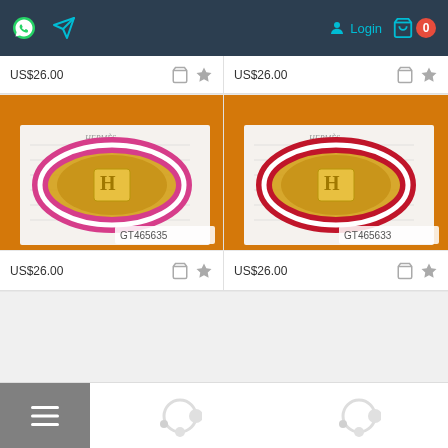Navigation bar with WhatsApp icon, message icon, Login button, cart with 0 items
US$26.00
[Figure (photo): Hermès bracelet with pink/magenta enamel and gold hardware, product code GT465635, shown on Hermès receipt paper with orange box in background]
US$26.00
[Figure (photo): Hermès bracelet with red enamel and gold hardware, product code GT465633, shown on Hermès receipt paper with orange box in background]
US$26.00
US$26.00